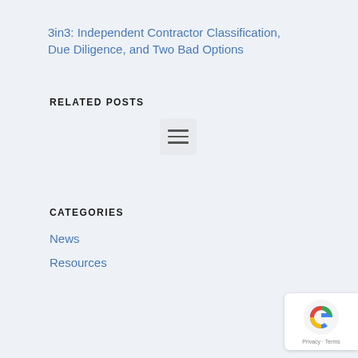3in3: Independent Contractor Classification, Due Diligence, and Two Bad Options
RELATED POSTS
[Figure (other): Hamburger menu icon in a light gray rounded box]
CATEGORIES
News
Resources